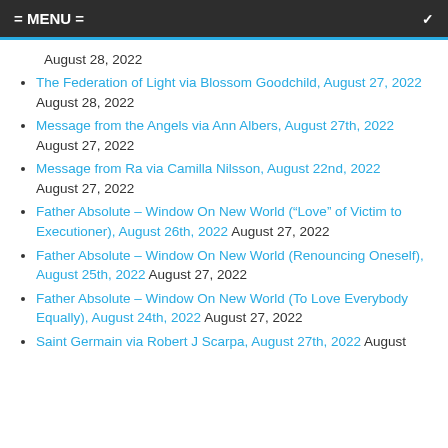= MENU =
August 28, 2022
The Federation of Light via Blossom Goodchild, August 27, 2022 August 28, 2022
Message from the Angels via Ann Albers, August 27th, 2022 August 27, 2022
Message from Ra via Camilla Nilsson, August 22nd, 2022 August 27, 2022
Father Absolute – Window On New World (“Love” of Victim to Executioner), August 26th, 2022 August 27, 2022
Father Absolute – Window On New World (Renouncing Oneself), August 25th, 2022 August 27, 2022
Father Absolute – Window On New World (To Love Everybody Equally), August 24th, 2022 August 27, 2022
Saint Germain via Robert J Scarpa, August 27th, 2022 August